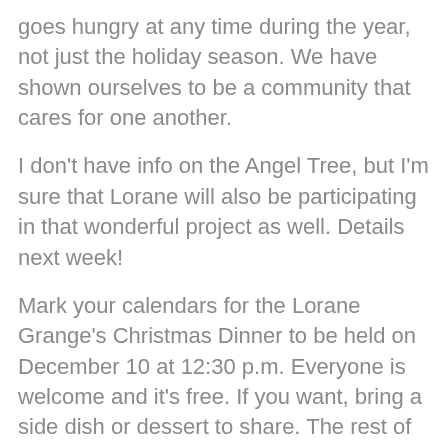goes hungry at any time during the year, not just the holiday season. We have shown ourselves to be a community that cares for one another.
I don't have info on the Angel Tree, but I'm sure that Lorane will also be participating in that wonderful project as well. Details next week!
Mark your calendars for the Lorane Grange's Christmas Dinner to be held on December 10 at 12:30 p.m. Everyone is welcome and it's free. If you want, bring a side dish or dessert to share. The rest of the meal will be provided by the grange. A collection box for the food baskets will also be available.